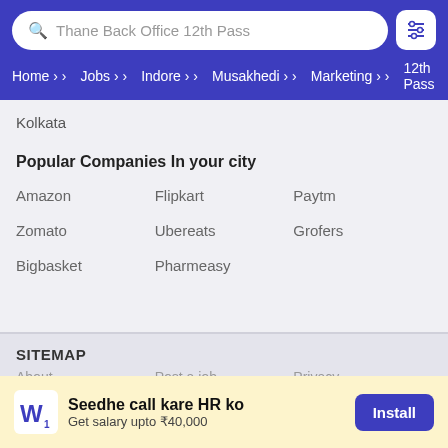Thane Back Office 12th Pass
Home › Jobs › Indore › Musakhedi › Marketing › 12th Pass
Kolkata
Popular Companies In your city
Amazon
Flipkart
Paytm
Zomato
Ubereats
Grofers
Bigbasket
Pharmeasy
SITEMAP
About    Post a job    Privacy
Seedhe call kare HR ko
Get salary upto ₹40,000